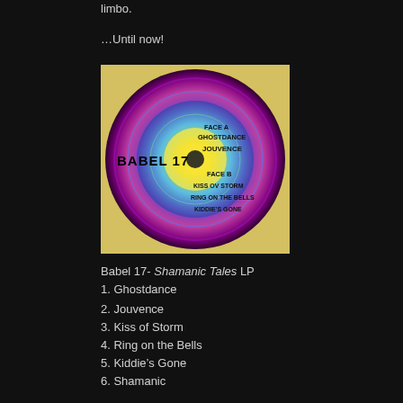limbo.
…Until now!
[Figure (photo): Album cover for Babel 17 - Shamanic Tales LP. A psychedelic circular image resembling a vinyl record with swirling purple, blue, yellow and green colors. Text on the label reads: FACE A, GHOSTDANCE, JOUVENCE, FACE B, KISS OV STORM, RING ON THE BELLS, KIDDIE'S GONE. The band name BABEL 17 appears on the left side.]
Babel 17- Shamanic Tales LP
1. Ghostdance
2. Jouvence
3. Kiss of Storm
4. Ring on the Bells
5. Kiddie's Gone
6. Shamanic
7. The Nightmare Goes On
8. Sense of Life
9. Virtual Vision